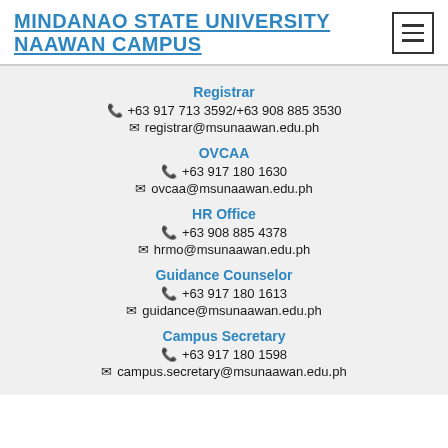MINDANAO STATE UNIVERSITY NAAWAN CAMPUS
Registrar
+63 917 713 3592/+63 908 885 3530
registrar@msunaawan.edu.ph
OVCAA
+63 917 180 1630
ovcaa@msunaawan.edu.ph
HR Office
+63 908 885 4378
hrmo@msunaawan.edu.ph
Guidance Counselor
+63 917 180 1613
guidance@msunaawan.edu.ph
Campus Secretary
+63 917 180 1598
campus.secretary@msunaawan.edu.ph